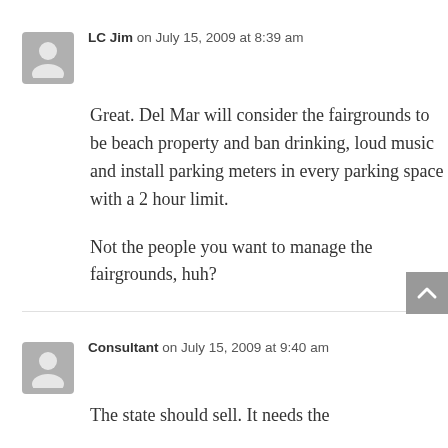LC Jim on July 15, 2009 at 8:39 am
Great. Del Mar will consider the fairgrounds to be beach property and ban drinking, loud music and install parking meters in every parking space with a 2 hour limit.
Not the people you want to manage the fairgrounds, huh?
Consultant on July 15, 2009 at 9:40 am
The state should sell. It needs the